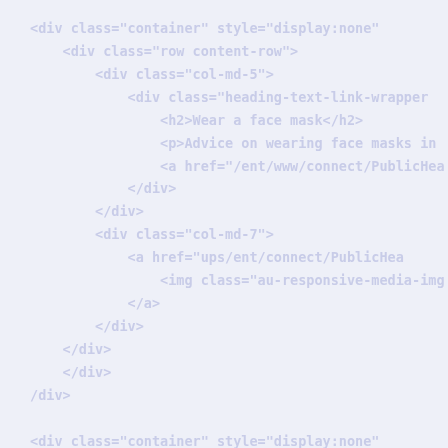<div class="container" style="display:none"
    <div class="row content-row">
        <div class="col-md-5">
            <div class="heading-text-link-wrapper
                <h2>Wear a face mask</h2>
                <p>Advice on wearing face masks in
                <a href="/ent/www/connect/PublicHea
            </div>
        </div>
        <div class="col-md-7">
            <a href="ups/ent/connect/PublicHea
                <img class="au-responsive-media-img
            </a>
        </div>
    </div>
    </div>
/div>

<div class="container" style="display:none"
    <div class="row content-row">
        <div class="col-md-5">
            <div class="heading-text-link-wrapper
                <h2>Get vaccinated</h2>
                <p>Find your nearest NSW Health COV
                <a href="/ent/www/connect/PublicHea